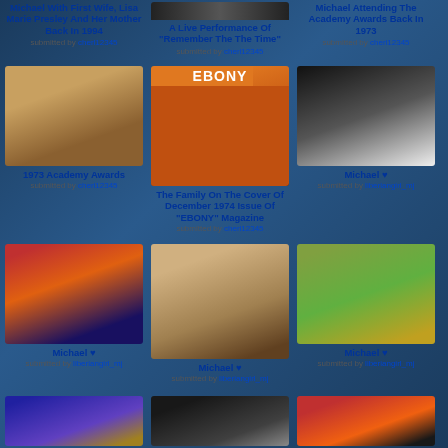[Figure (photo): Michael with First Wife Lisa Marie Presley And Her Mother Back In 1994]
Michael With First Wife, Lisa Marie Presley And Her Mother Back In 1994
submitted by cherl12345
[Figure (photo): A Live Performance Of Remember The Time]
A Live Performance Of "Remember The The Time"
submitted by cherl12345
[Figure (photo): Michael Attending The Academy Awards Back In 1973]
Michael Attending The Academy Awards Back In 1973
submitted by cherl12345
[Figure (photo): 1973 Academy Awards photo]
1973 Academy Awards
submitted by cherl12345
[Figure (photo): The Family On The Cover Of December 1974 Issue Of EBONY Magazine]
The Family On The Cover Of December 1974 Issue Of "EBONY" Magazine
submitted by cherl12345
[Figure (photo): Michael portrait close-up]
Michael ♥
submitted by liberiangirl_mj
[Figure (photo): Michael on stage performance]
Michael ♥
submitted by liberiangirl_mj
[Figure (photo): Michael with Mickey Mouse]
Michael ♥
submitted by liberiangirl_mj
[Figure (photo): Young Michael smiling outdoors]
Michael ♥
submitted by liberiangirl_mj
[Figure (photo): Partial photo row 3 left]
[Figure (photo): Partial photo row 3 center]
[Figure (photo): Partial photo row 3 right]